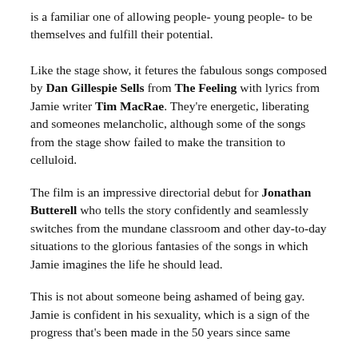is a familiar one of allowing people- young people- to be themselves and fulfill their potential.
Like the stage show, it fetures the fabulous songs composed by Dan Gillespie Sells from The Feeling with lyrics from Jamie writer Tim MacRae. They're energetic, liberating and someones melancholic, although some of the songs from the stage show failed to make the transition to celluloid.
The film is an impressive directorial debut for Jonathan Butterell who tells the story confidently and seamlessly switches from the mundane classroom and other day-to-day situations to the glorious fantasies of the songs in which Jamie imagines the life he should lead.
This is not about someone being ashamed of being gay. Jamie is confident in his sexuality, which is a sign of the progress that's been made in the 50 years since same